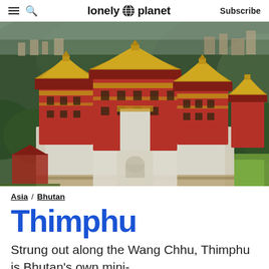lonely planet  Subscribe
[Figure (photo): Aerial view of Thimphu, Bhutan showing traditional Bhutanese dzong architecture with red roofs and gold-topped towers, set against forested hills and rice paddies]
Getty Images/AWL Images RM
Asia / Bhutan
Thimphu
Strung out along the Wang Chhu, Thimphu is Bhutan's own mini-